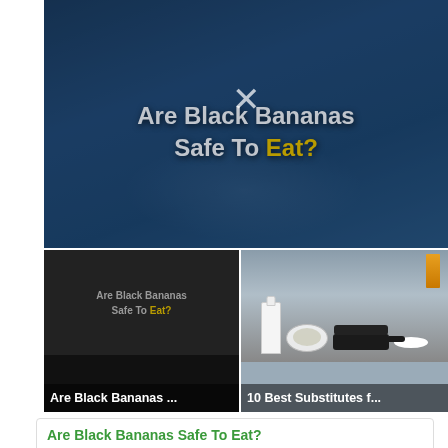[Figure (screenshot): Video thumbnail with dark blue background and banana imagery overlay. Title text reads 'Are Black Bananas Safe To Eat?' with 'Eat?' in yellow. A white X close button is centered over the title.]
[Figure (screenshot): Two smaller video thumbnails side by side. Left thumbnail shows 'Are Black Bananas Safe To Eat?' on dark background. Right thumbnail shows kitchen items including milk bottle, bowl, pan, and plate.]
Are Black Bananas ...
10 Best Substitutes f...
Are Black Bananas Safe To Eat?
Better Food. Betterer Prices.
Lidl